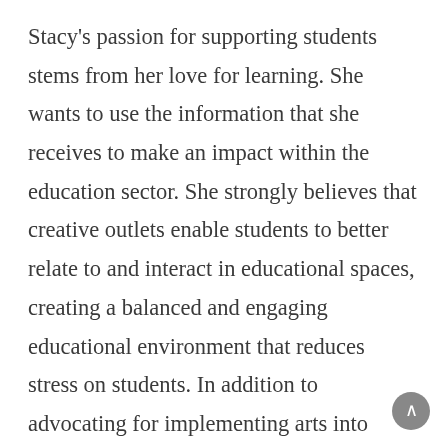Stacy's passion for supporting students stems from her love for learning. She wants to use the information that she receives to make an impact within the education sector. She strongly believes that creative outlets enable students to better relate to and interact in educational spaces, creating a balanced and engaging educational environment that reduces stress on students. In addition to advocating for implementing arts into curriculum, Stacy hopes to one day see educators steer away from punishment and focus more on investing in mental health for youth.